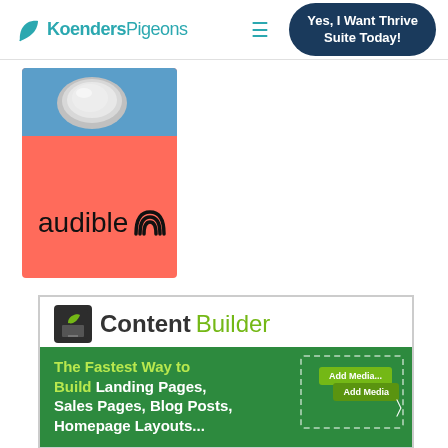Koenders Pigeons — Yes, I Want Thrive Suite Today!
[Figure (screenshot): Audible advertisement banner — red/coral background with an image of a coin/silver object at the top and the Audible logo (text + headphone icon) in the center]
[Figure (screenshot): Content Builder advertisement — white header with 'Content Builder' title and leaf logo, green body section with text 'The Fastest Way to Build Landing Pages, Sales Pages, Blog Posts, Homepage Layouts...' and UI mockup showing Add Media buttons]